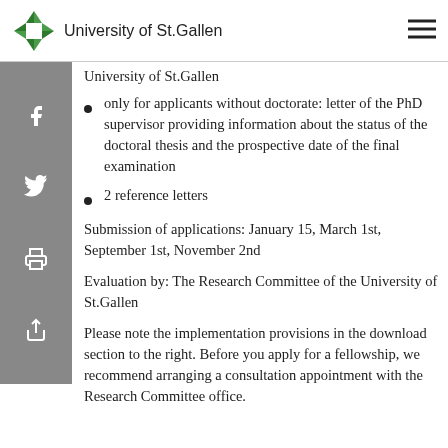University of St.Gallen
University of St.Gallen
only for applicants without doctorate: letter of the PhD supervisor providing information about the status of the doctoral thesis and the prospective date of the final examination
2 reference letters
Submission of applications: January 15, March 1st, September 1st, November 2nd
Evaluation by: The Research Committee of the University of St.Gallen
Please note the implementation provisions in the download section to the right. Before you apply for a fellowship, we recommend arranging a consultation appointment with the Research Committee office.